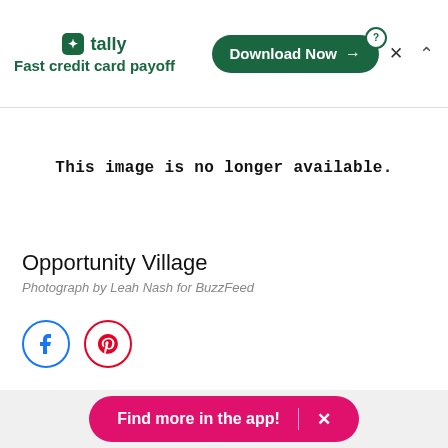[Figure (screenshot): Advertisement banner for Tally app — green logo with 'tally' text, tagline 'Fast credit card payoff', and a 'Download Now' button with arrow]
This image is no longer available.
Opportunity Village
Photograph by Leah Nash for BuzzFeed
[Figure (illustration): Social share icons: Facebook (blue circle) and Pinterest (red circle)]
Find more in the app!  ×